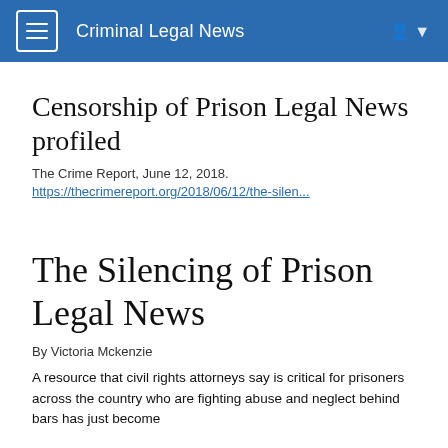Criminal Legal News
Censorship of Prison Legal News profiled
The Crime Report, June 12, 2018.
https://thecrimereport.org/2018/06/12/the-silen...
The Silencing of Prison Legal News
By Victoria Mckenzie
A resource that civil rights attorneys say is critical for prisoners across the country who are fighting abuse and neglect behind bars has just become officially...